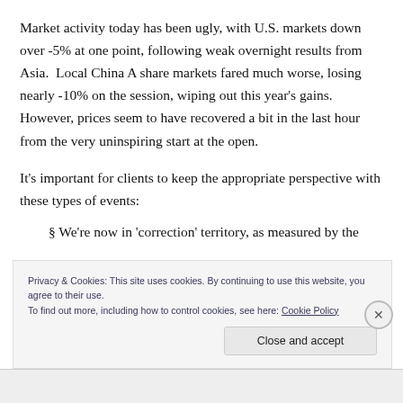Market activity today has been ugly, with U.S. markets down over -5% at one point, following weak overnight results from Asia.  Local China A share markets fared much worse, losing nearly -10% on the session, wiping out this year's gains.  However, prices seem to have recovered a bit in the last hour from the very uninspiring start at the open.
It's important for clients to keep the appropriate perspective with these types of events:
§ We're now in 'correction' territory, as measured by the
Privacy & Cookies: This site uses cookies. By continuing to use this website, you agree to their use.
To find out more, including how to control cookies, see here: Cookie Policy